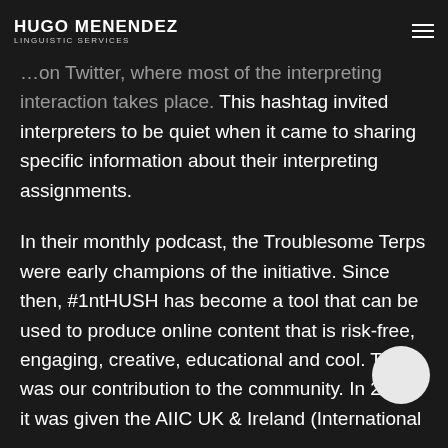HUGO MENENDEZ Linguistic Services
...on Twitter, where most of the interpreting interaction takes place. This hashtag invited interpreters to be quiet when it came to sharing specific information about their interpreting assignments.
In their monthly podcast, the Troublesome Terps were early champions of the initiative. Since then, #1ntHUSH has become a tool that can be used to produce online content that is risk-free, engaging, creative, educational and cool. This was our contribution to the community. In 2018, it was given the AIIC UK & Ireland (International